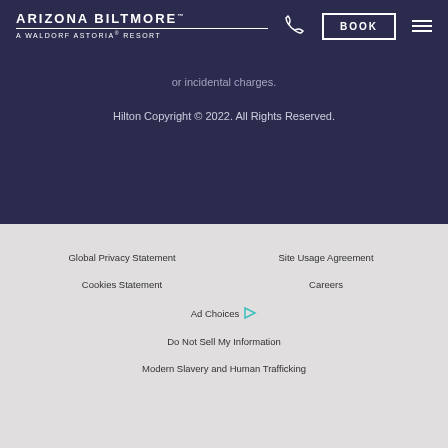ARIZONA BILTMORE™ A WALDORF ASTORIA® RESORT
or incidental charges.
Hilton Copyright © 2022. All Rights Reserved.
Global Privacy Statement
Site Usage Agreement
Cookies Statement
Careers
Ad Choices
Do Not Sell My Information
Modern Slavery and Human Trafficking